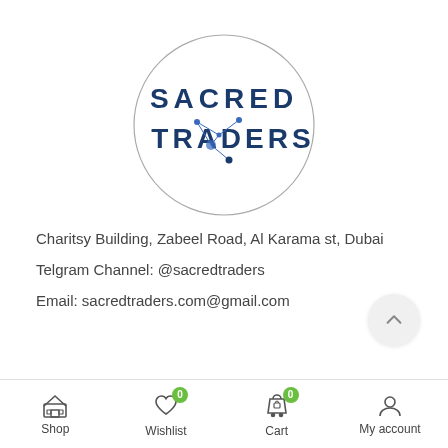[Figure (logo): Sacred Traders logo — circle outline with constellation dots and lines, text SACRED TRADERS in dark navy blue]
Charitsy Building, Zabeel Road, Al Karama st, Dubai
Telgram Channel: @sacredtraders
Email: sacredtraders.com@gmail.com
Shop | Wishlist 0 | Cart 0 | My account